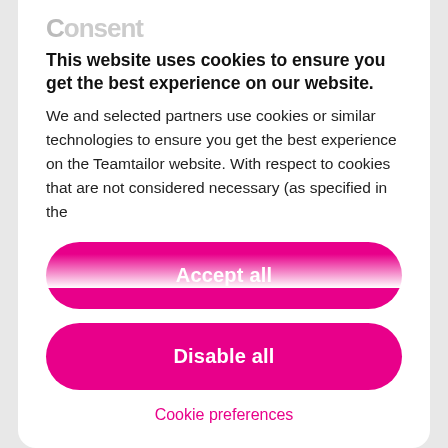C... ...it...
This website uses cookies to ensure you get the best experience on our website.
We and selected partners use cookies or similar technologies to ensure you get the best experience on the Teamtailor website. With respect to cookies that are not considered necessary (as specified in the
Accept all
Disable all
Cookie preferences